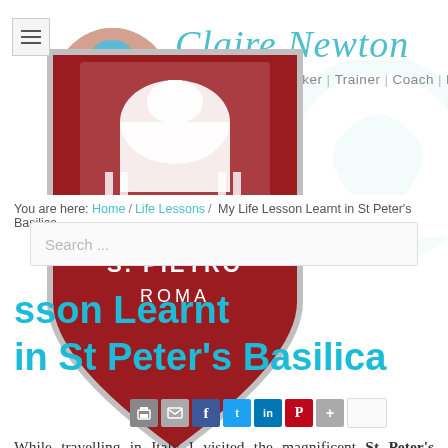Claire Newton — Psychologist | Speaker | Trainer | Coach | Hat Lover
[Figure (photo): Red shield-shaped badge/pin with image of St Peter's Basilica, text 'S. PIETRO ROMA', overlapping with circular profile photo of a woman wearing a blue hat]
You are here: Home / Life Lessons / My Life Lesson Learnt in St Peter's Basilica
My Life Lesson Learnt in St Peter's Basilica
While travelling in Italy I visited the magnificent St Peter's Basilica located in the Vatican City. Inside is a larger-than-life bronze statue of St. Peter — his right